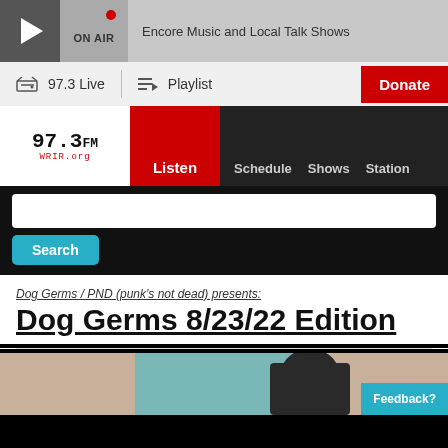Encore Music and Local Talk Shows
97.3 Live
Playlist
Donate
[Figure (logo): 97.3 WRIR.org radio station logo]
Listen  Schedule  Shows  Station
Search
Dog Germs / PND (punk's not dead) presents:
Dog Germs 8/23/22 Edition
[Figure (photo): Partial photo of a dark-haired figure against a tan/teal background]
Feedback?